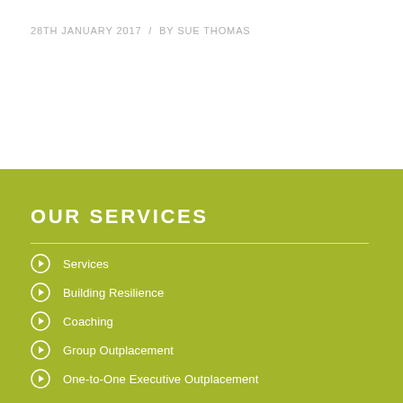28TH JANUARY 2017  /  BY SUE THOMAS
OUR SERVICES
Services
Building Resilience
Coaching
Group Outplacement
One-to-One Executive Outplacement